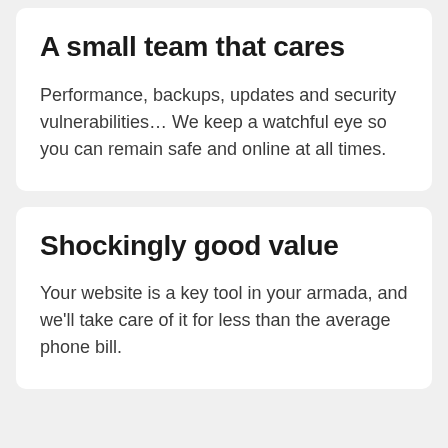A small team that cares
Performance, backups, updates and security vulnerabilities… We keep a watchful eye so you can remain safe and online at all times.
Shockingly good value
Your website is a key tool in your armada, and we'll take care of it for less than the average phone bill.